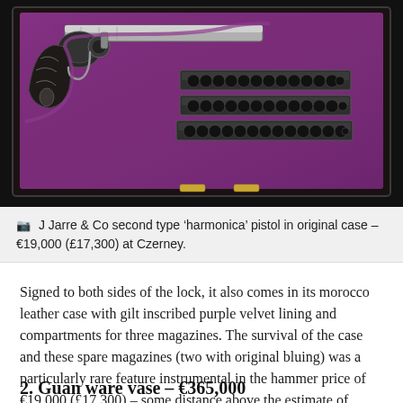[Figure (photo): A J Jarre & Co second type 'harmonica' pistol displayed in an open morocco leather case with gilt inscribed purple velvet lining and three magazine compartments containing bullet magazines.]
J Jarre & Co second type 'harmonica' pistol in original case – €19,000 (£17,300) at Czerney.
Signed to both sides of the lock, it also comes in its morocco leather case with gilt inscribed purple velvet lining and compartments for three magazines. The survival of the case and these spare magazines (two with original bluing) was a particularly rare feature instrumental in the hammer price of €19,000 (£17,300) – some distance above the estimate of €2500-4500.
2. Guan ware vase – €365,000